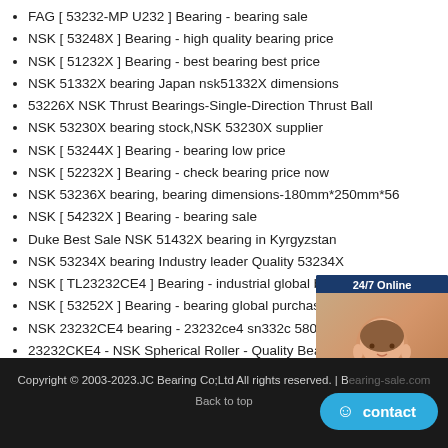FAG [ 53232-MP U232 ] Bearing - bearing sale
NSK [ 53248X ] Bearing - high quality bearing price
NSK [ 51232X ] Bearing - best bearing best price
NSK 51332X bearing Japan nsk51332X dimensions
53226X NSK Thrust Bearings-Single-Direction Thrust Ball
NSK 53230X bearing stock,NSK 53230X supplier
NSK [ 53244X ] Bearing - bearing low price
NSK [ 52232X ] Bearing - check bearing price now
NSK 53236X bearing, bearing dimensions-180mm*250mm*56
NSK [ 54232X ] Bearing - bearing sale
Duke Best Sale NSK 51432X bearing in Kyrgyzstan
NSK 53234X bearing Industry leader Quality 53234X
NSK [ TL23232CE4 ] Bearing - industrial global bearing
NSK [ 53252X ] Bearing - bearing global purchase
NSK 23232CE4 bearing - 23232ce4 sn332c 580 680 200 405
23232CKE4 - NSK Spherical Roller - Quality Bearings
NACHI [ 23232A2X ] Bearing - bearing online store
[Figure (photo): Customer service representative widget with 24/7 Online label, a woman wearing headset, italic text 'Enter any requests, click here.' and an orange Quotation button]
Copyright © 2003-2023.JC Bearing Co;Ltd All rights reserved. | bearing-sale.com
Back to top